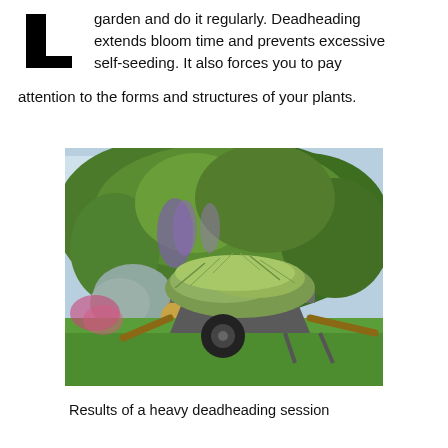garden and do it regularly. Deadheading extends bloom time and prevents excessive self-seeding. It also forces you to pay attention to the forms and structures of your plants.
[Figure (photo): A wheelbarrow full of garden clippings from deadheading, sitting on a green lawn in front of a lush garden border full of various flowering plants and ornamental grasses.]
Results of a heavy deadheading session